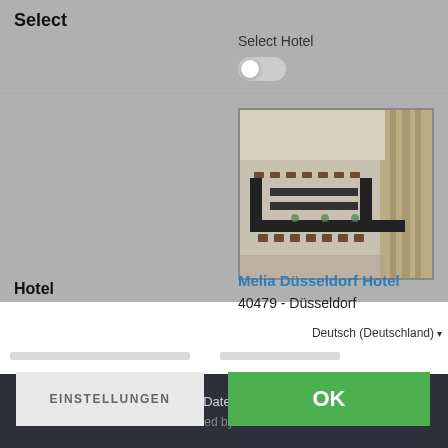Select
Select Hotel
[Figure (screenshot): Toggle switch (off) for Select Hotel option]
[Figure (photo): Photo of a hotel conference room with long tables arranged in U-shape, chairs, and curtains in background — Melia Düsseldorf Hotel]
Hotel
Melia Düsseldorf Hotel
40479 - Düsseldorf
Deutsch (Deutschland)
EINSTELLUNGEN
OK
Impressum | Datenschutzerklärung
Powered by CCM19